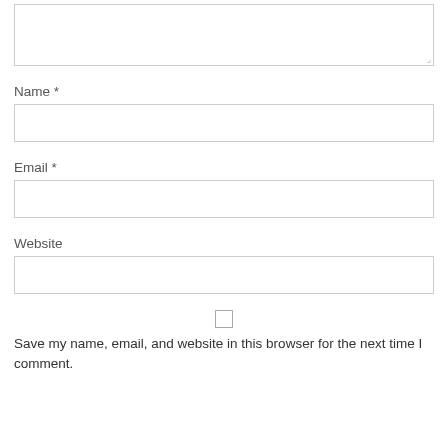[Figure (other): A textarea form field with resize handle in bottom-right corner]
Name *
[Figure (other): A text input field for Name]
Email *
[Figure (other): A text input field for Email]
Website
[Figure (other): A text input field for Website]
Save my name, email, and website in this browser for the next time I comment.